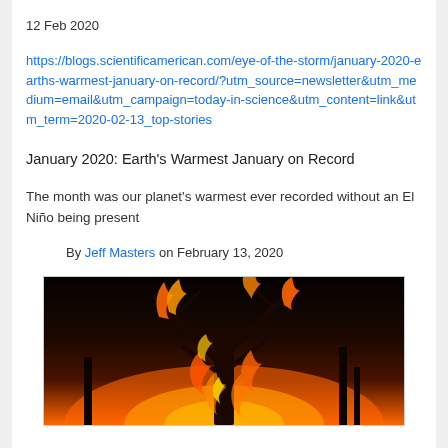12 Feb 2020
https://blogs.scientificamerican.com/eye-of-the-storm/january-2020-earths-warmest-january-on-record/?utm_source=newsletter&utm_medium=email&utm_campaign=today-in-science&utm_content=link&utm_term=2020-02-13_top-stories
January 2020: Earth's Warmest January on Record
The month was our planet's warmest ever recorded without an El Niño being present
By Jeff Masters on February 13, 2020
[Figure (photo): A burning tree engulfed in flames against a dark background, depicting a wildfire scene]